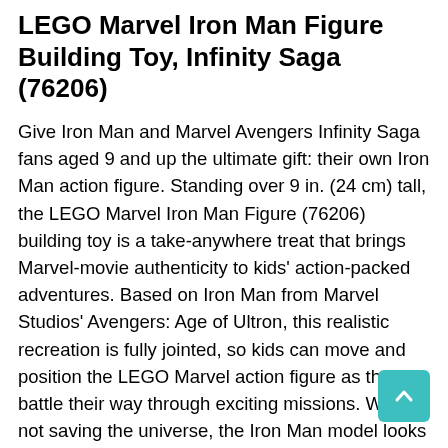LEGO Marvel Iron Man Figure Building Toy, Infinity Saga (76206)
Give Iron Man and Marvel Avengers Infinity Saga fans aged 9 and up the ultimate gift: their own Iron Man action figure. Standing over 9 in. (24 cm) tall, the LEGO Marvel Iron Man Figure (76206) building toy is a take-anywhere treat that brings Marvel-movie authenticity to kids' action-packed adventures. Based on Iron Man from Marvel Studios' Avengers: Age of Ultron, this realistic recreation is fully jointed, so kids can move and position the LEGO Marvel action figure as they battle their way through exciting missions. When not saving the universe, the Iron Man model looks great on display and includes a removable information plate with details about the iconic armoured Avenger. The free LEGO Building Instructions app contains an additional digital guide that kids can use to zoom, rotate and visualise their model. There's also guided, real-life, building process that allows young builders to construct with confidence. Looking for a gift for